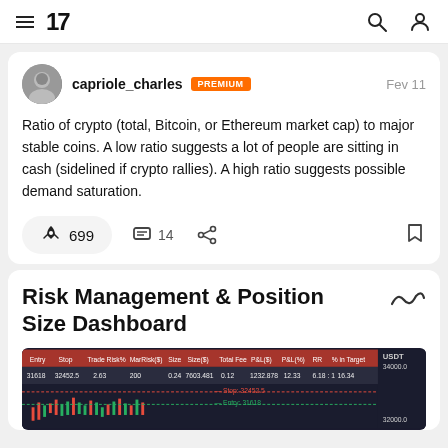TradingView navigation bar with logo, hamburger menu, search and user icons
capriole_charles PREMIUM  Fev 11
Ratio of crypto (total, Bitcoin, or Ethereum market cap) to major stable coins. A low ratio suggests a lot of people are sitting in cash (sidelined if crypto rallies). A high ratio suggests possible demand saturation.
🚀 699  💬 14
Risk Management & Position Size Dashboard
[Figure (screenshot): A trading dashboard screenshot showing a table with columns: Entry, Stop, Trade Risk(%), MarRisk($), Size, Size($), Total Fee, P&L($), P&L(%), RR, % in Target. Row data: 31618, 32452.5, 2.63, 200, 0.24, 7603.481, 0.12, 1232.878, 12.33, 6.18:1, 16.34. Below shows a candlestick chart with Stop: 32452.5 and Entry: 31618 marked.]